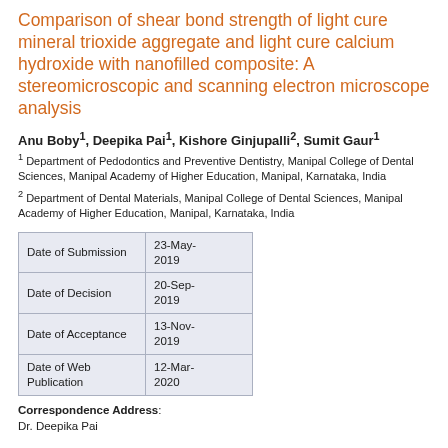Comparison of shear bond strength of light cure mineral trioxide aggregate and light cure calcium hydroxide with nanofilled composite: A stereomicroscopic and scanning electron microscope analysis
Anu Boby1, Deepika Pai1, Kishore Ginjupalli2, Sumit Gaur1
1 Department of Pedodontics and Preventive Dentistry, Manipal College of Dental Sciences, Manipal Academy of Higher Education, Manipal, Karnataka, India
2 Department of Dental Materials, Manipal College of Dental Sciences, Manipal Academy of Higher Education, Manipal, Karnataka, India
|  |  |
| --- | --- |
| Date of Submission | 23-May-2019 |
| Date of Decision | 20-Sep-2019 |
| Date of Acceptance | 13-Nov-2019 |
| Date of Web Publication | 12-Mar-2020 |
Correspondence Address: Dr. Deepika Pai